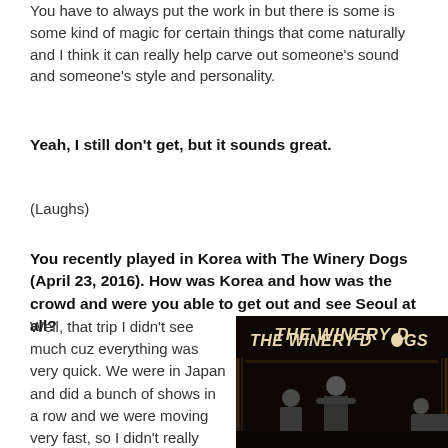You have to always put the work in but there is some is some kind of magic for certain things that come naturally and I think it can really help carve out someone's sound and someone's style and personality.
Yeah, I still don't get, but it sounds great.
(Laughs)
You recently played in Korea with The Winery Dogs (April 23, 2016).  How was Korea and how was the crowd and were you able to get out and see Seoul at all?
Well, that trip I didn't see much cuz everything was very quick.  We were in Japan and did a bunch of shows in a row and we were moving very fast, so I didn't really hang out in Seoul.  I do
[Figure (photo): The Winery Dogs band promotional photo with text 'THE WINERY DOGS' at top, dark background, showing band members posing]